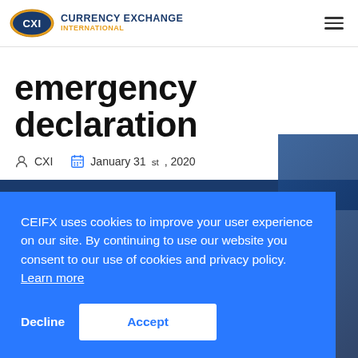CXI - Currency Exchange International
emergency declaration
CXI   January 31st, 2020
[Figure (screenshot): Currency Market Trend Analysis article header image partially visible]
CEIFX uses cookies to improve your user experience on our site. By continuing to use our website you consent to our use of cookies and privacy policy. Learn more
Decline   Accept